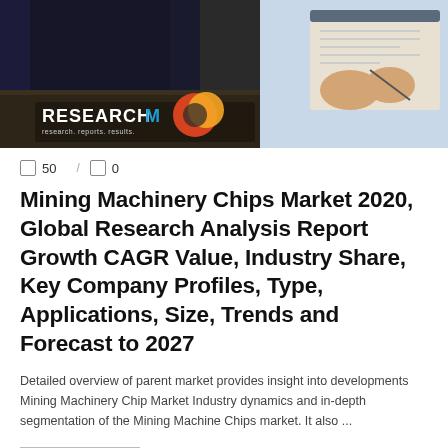[Figure (photo): Banner image showing two business people at a desk with a clipboard, with ResearchMoz logo overlaid in bottom-left corner]
50 / 0
Mining Machinery Chips Market 2020, Global Research Analysis Report Growth CAGR Value, Industry Share, Key Company Profiles, Type, Applications, Size, Trends and Forecast to 2027
Detailed overview of parent market provides insight into developments Mining Machinery Chip Market Industry dynamics and in-depth segmentation of the Mining Machine Chips market. It also ...
READ MORE